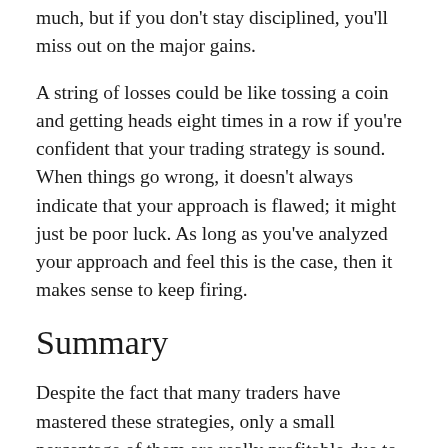much, but if you don't stay disciplined, you'll miss out on the major gains.
A string of losses could be like tossing a coin and getting heads eight times in a row if you're confident that your trading strategy is sound. When things go wrong, it doesn't always indicate that your approach is flawed; it might just be poor luck. As long as you've analyzed your approach and feel this is the case, then it makes sense to keep firing.
Summary
Despite the fact that many traders have mastered these strategies, only a small percentage of them are really profitable due to psychological biases. Breaking the rules begins to seem like a natural part of your